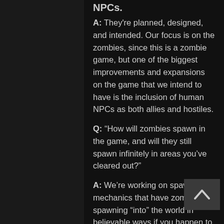NPCs.
A: They're planned, designed, and intended. Our focus is on the zombies, since this is a zombie game, but one of the biggest improvements and expansions on the game that we intend to have is the inclusion of human NPCs as both allies and hostiles.
Q: “How will zombies spawn in the game, and will they still spawn infinitely in areas you’ve cleared out?”
A: We’re working on spawning mechanics that have zombies spawning “into” the world in believable ways if you happen to